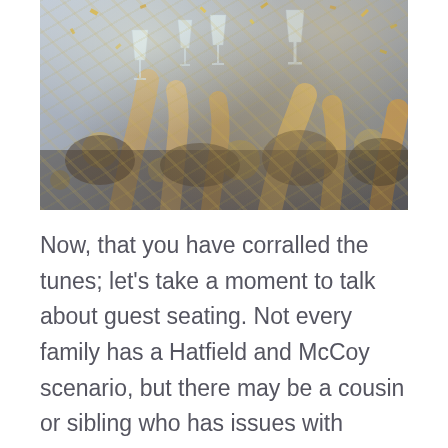[Figure (photo): Celebration scene with people clinking champagne glasses, golden confetti falling in the air, festive party atmosphere]
Now, that you have corralled the tunes; let's take a moment to talk about guest seating. Not every family has a Hatfield and McCoy scenario, but there may be a cousin or sibling who has issues with another; or perhaps a